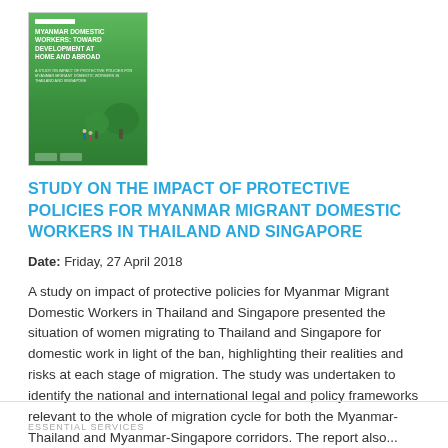[Figure (illustration): Book cover showing 'Myanmar Domestic Workers: Toward Development at Home and Abroad' with a green illustrated design featuring trees and figures.]
STUDY ON THE IMPACT OF PROTECTIVE POLICIES FOR MYANMAR MIGRANT DOMESTIC WORKERS IN THAILAND AND SINGAPORE
Date: Friday, 27 April 2018
A study on impact of protective policies for Myanmar Migrant Domestic Workers in Thailand and Singapore presented the situation of women migrating to Thailand and Singapore for domestic work in light of the ban, highlighting their realities and risks at each stage of migration. The study was undertaken to identify the national and international legal and policy frameworks relevant to the whole of migration cycle for both the Myanmar-Thailand and Myanmar-Singapore corridors. The report also...
ESSENTIAL SERVICES